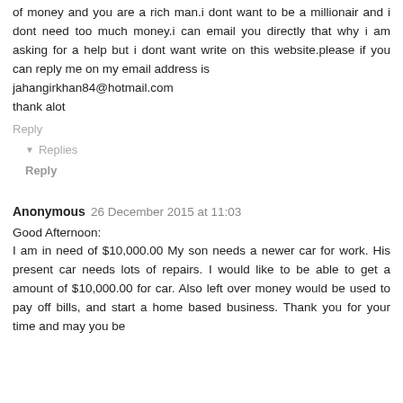of money and you are a rich man.i dont want to be a millionair and i dont need too much money.i can email you directly that why i am asking for a help but i dont want write on this website.please if you can reply me on my email address is
jahangirkhan84@hotmail.com
thank alot
Reply
▾ Replies
Reply
Anonymous  26 December 2015 at 11:03
Good Afternoon:
I am in need of $10,000.00 My son needs a newer car for work. His present car needs lots of repairs. I would like to be able to get a amount of $10,000.00 for car. Also left over money would be used to pay off bills, and start a home based business. Thank you for your time and may you be